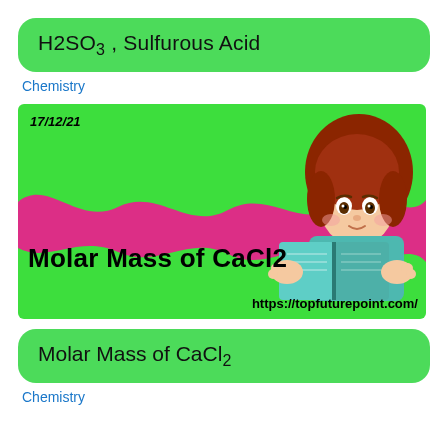H2SO3 , Sulfurous Acid
Chemistry
[Figure (illustration): Educational banner image with green background, pink wavy shape, bold text 'Molar Mass of CaCl2', a cartoon girl reading a book, date stamp '17/12/21', and website URL 'https://topfuturepoint.com/']
Molar Mass of CaCl2
Chemistry